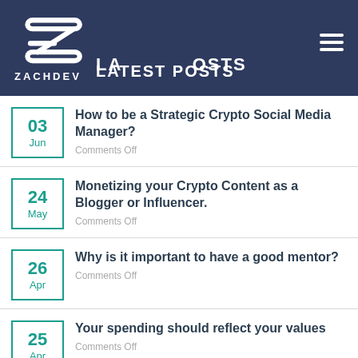[Figure (logo): Zachdev logo with stylized Z shape and ZACHDEV text, plus LATEST POSTS header text]
03 Jun | How to be a Strategic Crypto Social Media Manager? | Comments Off
24 May | Monetizing your Crypto Content as a Blogger or Influencer. | Comments Off
26 Apr | Why is it important to have a good mentor? | Comments Off
25 Apr | Your spending should reflect your values | Comments Off
22 Apr | Slow Market & Stuck in job limbo? Here's how to make yourself more hireable. | Comments Off